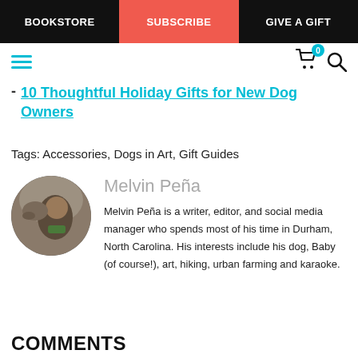BOOKSTORE | SUBSCRIBE | GIVE A GIFT
- 10 Thoughtful Holiday Gifts for New Dog Owners
Tags: Accessories, Dogs in Art, Gift Guides
Melvin Peña
Melvin Peña is a writer, editor, and social media manager who spends most of his time in Durham, North Carolina. His interests include his dog, Baby (of course!), art, hiking, urban farming and karaoke.
COMMENTS